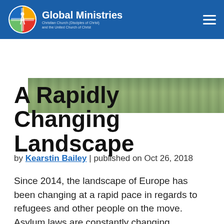Global Ministries | Christian Church (Disciples of Christ) and the United Church of Christ
[Figure (photo): Landscape/nature photo strip showing greenery and rocks]
A Rapidly Changing Landscape
by Kearstin Bailey | published on Oct 26, 2018
Since 2014, the landscape of Europe has been changing at a rapid pace in regards to refugees and other people on the move. Asylum laws are constantly changing, countries are still overwhelmed with the